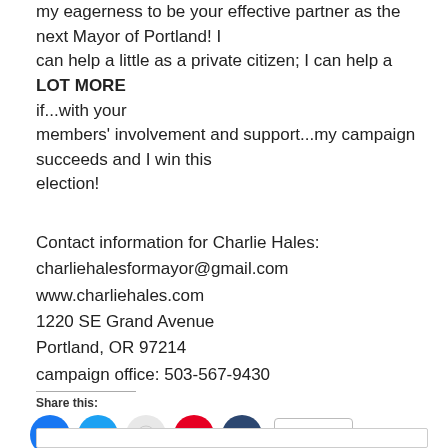my eagerness to be your effective partner as the next Mayor of Portland!  I can help a little as a private citizen; I can help a LOT MORE if...with your members' involvement and support...my campaign succeeds and I win this election!
Contact information for Charlie Hales:
charliehalesformayor@gmail.com
www.charliehales.com
1220 SE Grand Avenue
Portland, OR 97214
campaign office: 503-567-9430
Share this:
[Figure (infographic): Social media share buttons: Facebook (blue circle), Twitter (blue circle), Reddit (light grey circle), Pinterest (red circle), Tumblr (dark navy circle), and a More button with share icon]